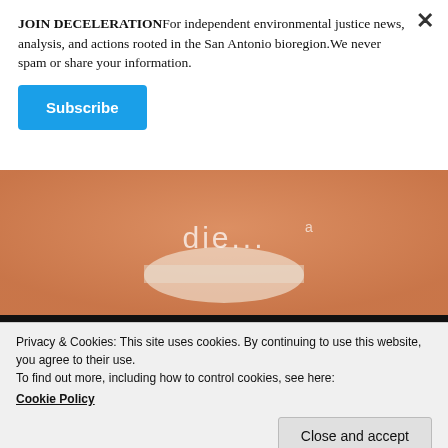JOIN DECELERATIONFor independent environmental justice news, analysis, and actions rooted in the San Antonio bioregion.We never spam or share your information.
Subscribe
[Figure (photo): Close-up of a smiling person's lower face and chin with orange/sepia toning and text overlay reading 'die...' partially visible. Lower portion is black.]
Privacy & Cookies: This site uses cookies. By continuing to use this website, you agree to their use.
To find out more, including how to control cookies, see here:
Cookie Policy
Close and accept
content/uploads/2019/04/chevron